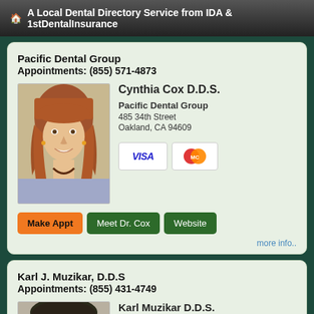A Local Dental Directory Service from IDA & 1stDentalInsurance
Pacific Dental Group
Appointments: (855) 571-4873
[Figure (photo): Photo of Cynthia Cox D.D.S., a woman with reddish-brown hair, smiling]
Cynthia Cox D.D.S.
Pacific Dental Group
485 34th Street
Oakland, CA 94609
[Figure (other): VISA and MasterCard payment icons]
Make Appt   Meet Dr. Cox   Website
more info..
Karl J. Muzikar, D.D.S
Appointments: (855) 431-4749
[Figure (photo): Photo of Karl Muzikar D.D.S., partially visible]
Karl Muzikar D.D.S.
Karl J. Muzikar, D.D.S